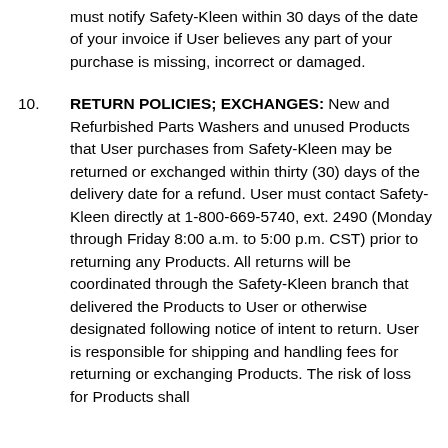must notify Safety-Kleen within 30 days of the date of your invoice if User believes any part of your purchase is missing, incorrect or damaged.
10. RETURN POLICIES; EXCHANGES: New and Refurbished Parts Washers and unused Products that User purchases from Safety-Kleen may be returned or exchanged within thirty (30) days of the delivery date for a refund. User must contact Safety-Kleen directly at 1-800-669-5740, ext. 2490 (Monday through Friday 8:00 a.m. to 5:00 p.m. CST) prior to returning any Products. All returns will be coordinated through the Safety-Kleen branch that delivered the Products to User or otherwise designated following notice of intent to return. User is responsible for shipping and handling fees for returning or exchanging Products. The risk of loss for Products shall